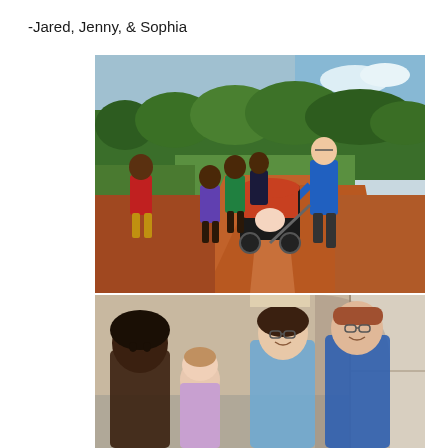-Jared, Jenny, & Sophia
[Figure (photo): A man in a blue shirt pushes a baby in an orange and black jogging stroller along a red dirt road in Africa. Several African children run alongside him. Green trees and fields are visible in the background.]
[Figure (photo): Indoor group photo showing four people smiling at the camera: an African woman on the left, a baby/toddler in the center-left, a woman with glasses in the center-right, and a man with glasses and a blue shirt on the right.]